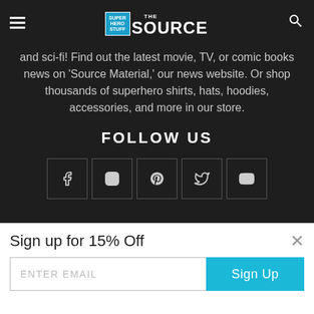Super Hero Stuff THE SOURCE
and sci-fi! Find out the latest movie, TV, or comic books news on 'Source Material,' our news website. Or shop thousands of superhero shirts, hats, hoodies, accessories, and more in our store.
FOLLOW US
[Figure (infographic): Row of 5 social media icon buttons in square borders: Facebook (f), Instagram (camera), Pinterest (p), Twitter (bird), YouTube (play button)]
Sign up for 15% Off
ENTER EMAIL
Sign Up